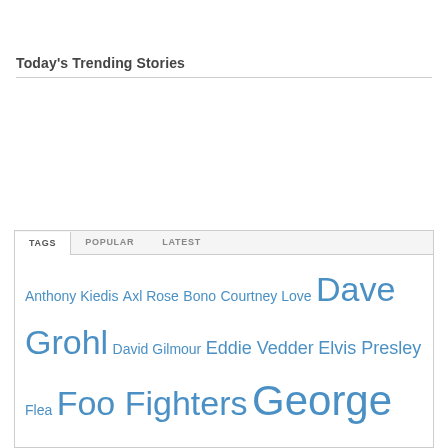Today's Trending Stories
Anthony Kiedis Axl Rose Bono Courtney Love Dave Grohl David Gilmour Eddie Vedder Elvis Presley Flea Foo Fighters George Harrison Guns N' Roses Jack White Jim Morrison Jimmy Page John Bonham John Frusciante John Lennon John Paul Jones Keith Moon Krist Novoselic Kurt Cobain Led Zeppelin Liam Gallagher Michael Jackson Mick Jagger